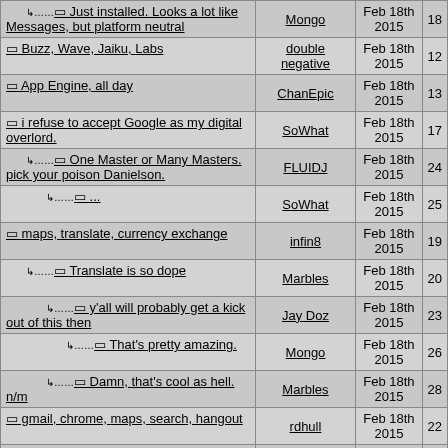| Topic | Author | Date | # |
| --- | --- | --- | --- |
| ↳ ▭ Just installed. Looks a lot like Messages, but platform neutral | Mongo | Feb 18th 2015 | 18 |
| ▭ Buzz, Wave, Jaiku, Labs | double negative | Feb 18th 2015 | 12 |
| ▭ App Engine, all day | ChanEpic | Feb 18th 2015 | 13 |
| ▭ i refuse to accept Google as my digital overlord. | SoWhat | Feb 18th 2015 | 17 |
| ↳ ▭ One Master or Many Masters. pick your poison Danielson. | FLUIDJ | Feb 18th 2015 | 24 |
| ↳ ▭ ... | SoWhat | Feb 18th 2015 | 25 |
| ▭ maps, translate, currency exchange | infin8 | Feb 18th 2015 | 19 |
| ↳ ▭ Translate is so dope | Marbles | Feb 18th 2015 | 20 |
| ↳ ▭ y'all will probably get a kick out of this then | Jay Doz | Feb 18th 2015 | 23 |
| ↳ ▭ That's pretty amazing. | Mongo | Feb 18th 2015 | 26 |
| ↳ ▭ Damn, that's cool as hell. n/m | Marbles | Feb 18th 2015 | 28 |
| ▭ gmail, chrome, maps, search, hangout | rdhull | Feb 18th 2015 | 22 |
| ▭ RIP GOOGLE | Government Name | Feb 18th 2015 | 27 |